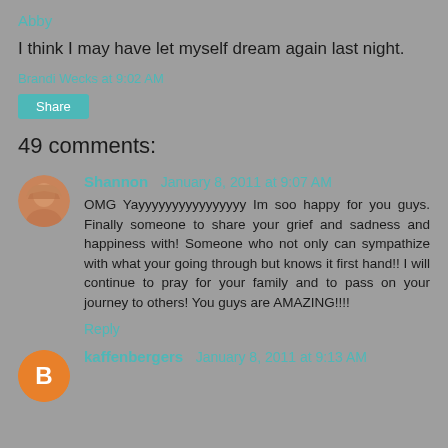Abby
I think I may have let myself dream again last night.
Brandi Wecks at 9:02 AM
Share
49 comments:
Shannon January 8, 2011 at 9:07 AM
OMG Yayyyyyyyyyyyyyyyy Im soo happy for you guys. Finally someone to share your grief and sadness and happiness with! Someone who not only can sympathize with what your going through but knows it first hand!! I will continue to pray for your family and to pass on your journey to others! You guys are AMAZING!!!!
Reply
kaffenbergers January 8, 2011 at 9:13 AM